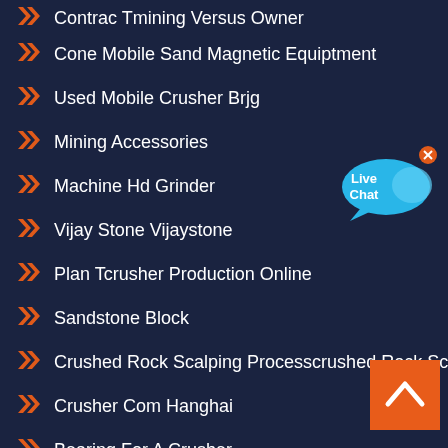Contrac Tmining Versus Owner
Cone Mobile Sand Magnetic Equiptment
Used Mobile Crusher Brjg
Mining Accessories
Machine Hd Grinder
Vijay Stone Vijaystone
Plan Tcrusher Production Online
Sandstone Block
Crushed Rock Scalping Processcrushed Rock Screening
Crusher Com Hanghai
Bearing For A Crusher
[Figure (illustration): Live Chat speech bubble icon in blue with white text 'Live Chat' and an X close button]
[Figure (illustration): Back to top orange square button with white upward chevron arrow]